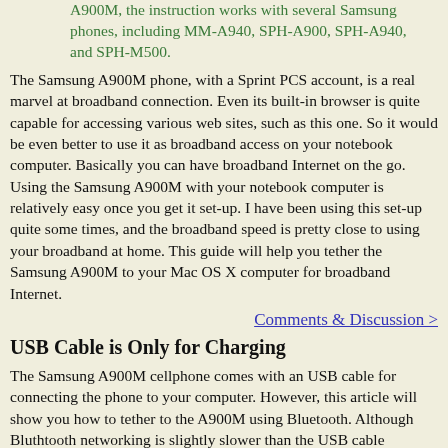A900M, the instruction works with several Samsung phones, including MM-A940, SPH-A900, SPH-A940, and SPH-M500.
The Samsung A900M phone, with a Sprint PCS account, is a real marvel at broadband connection. Even its built-in browser is quite capable for accessing various web sites, such as this one. So it would be even better to use it as broadband access on your notebook computer. Basically you can have broadband Internet on the go. Using the Samsung A900M with your notebook computer is relatively easy once you get it set-up. I have been using this set-up quite some times, and the broadband speed is pretty close to using your broadband at home. This guide will help you tether the Samsung A900M to your Mac OS X computer for broadband Internet.
Comments & Discussion >
USB Cable is Only for Charging
The Samsung A900M cellphone comes with an USB cable for connecting the phone to your computer. However, this article will show you how to tether to the A900M using Bluetooth. Although Bluthtooth networking is slightly slower than the USB cable connection, it leaves your computer's USB port open for other purposes, and you can keep the cellphone powered with the wall charger. (You can still use the cable for charging.) Also, I am